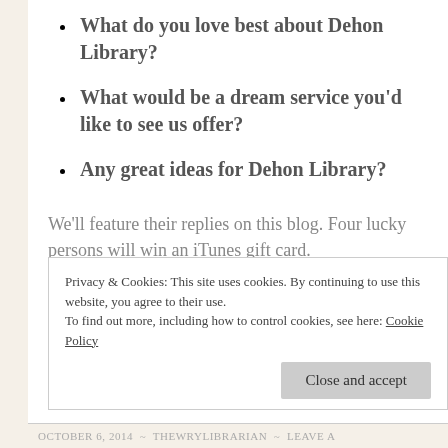What do you love best about Dehon Library?
What would be a dream service you'd like to see us offer?
Any great ideas for Dehon Library?
We'll feature their replies on this blog. Four lucky persons will win an iTunes gift card.
Privacy & Cookies: This site uses cookies. By continuing to use this website, you agree to their use.
To find out more, including how to control cookies, see here: Cookie Policy
OCTOBER 6, 2014 ~ THEWRYLIBRARIAN ~ LEAVE A